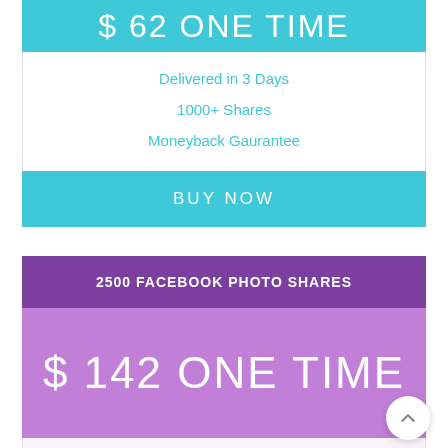$ 62 ONE TIME
Delivered in 3 Days
1000+ Shares
Moneyback Gaurantee
BUY NOW
2500 FACEBOOK PHOTO SHARES
$ 142 ONE TIME
Delivered in 4 Days
2500+ Shares